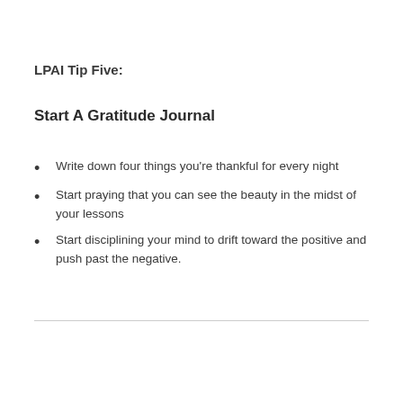LPAI Tip Five:
Start A Gratitude Journal
Write down four things you’re thankful for every night
Start praying that you can see the beauty in the midst of your lessons
Start disciplining your mind to drift toward the positive and push past the negative.